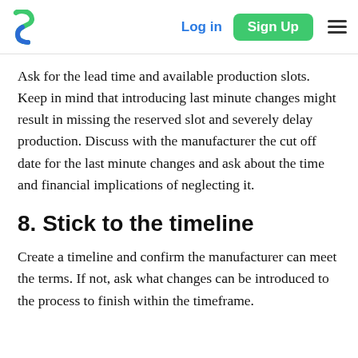Log in | Sign Up
Ask for the lead time and available production slots. Keep in mind that introducing last minute changes might result in missing the reserved slot and severely delay production. Discuss with the manufacturer the cut off date for the last minute changes and ask about the time and financial implications of neglecting it.
8. Stick to the timeline
Create a timeline and confirm the manufacturer can meet the terms. If not, ask what changes can be introduced to the process to finish within the timeframe.